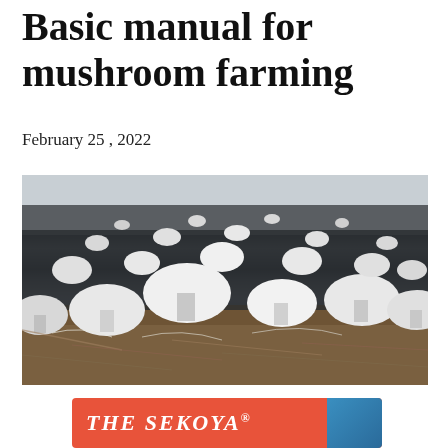Basic manual for mushroom farming
February 25 , 2022
[Figure (photo): Close-up photograph of white button mushrooms growing densely on a dark composted substrate bed inside a farming facility. The mushrooms range from small to large, with mycelium-covered substrate visible in the foreground.]
[Figure (other): Advertisement banner with coral/red background showing 'THE SEKOYA' text in bold italic white letters with a registered trademark symbol, and a blue section on the right edge.]